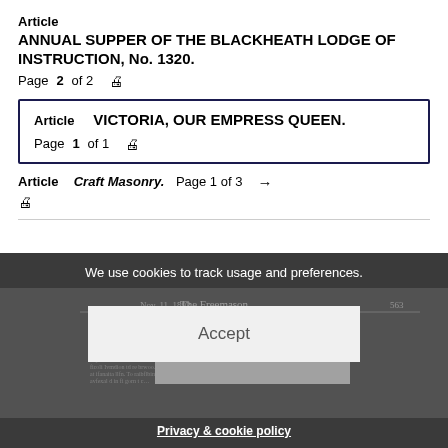Article
ANNUAL SUPPER OF THE BLACKHEATH LODGE OF INSTRUCTION, No. 1320.
Page 2 of 2 🖨
Article   VICTORIA, OUR EMPRESS QUEEN.
Page 1 of 1 🖨
Article   Craft Masonry.   Page 1 of 3   →   🖨
[Figure (screenshot): Cookie consent banner with dark background showing a snippet of a newspaper page (The Freemason), an Accept button, and a Privacy & cookie policy link. Text reads: We use cookies to track usage and preferences.]